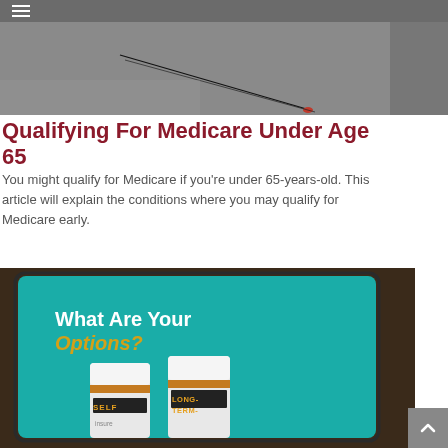[Figure (photo): Gray background with thin diagonal black line and small red element — appears to be acupuncture needles on skin]
Qualifying For Medicare Under Age 65
You might qualify for Medicare if you're under 65-years-old. This article will explain the conditions where you may qualify for Medicare early.
[Figure (photo): Tablet screen showing teal background with text 'What Are Your Options?' and two prescription medicine bottles labeled 'SELF insure' and 'LONG-TERM-']